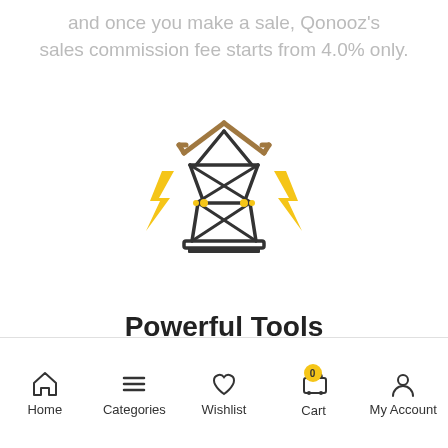and once you make a sale, Qonooz's sales commission fee starts from 4.0% only.
[Figure (illustration): Electricity power tower/pylon icon with yellow lightning bolt symbols on left and right sides, brown insulator caps at top, dark outline style icon on white background.]
Powerful Tools
Home   Categories   Wishlist   Cart   My Account